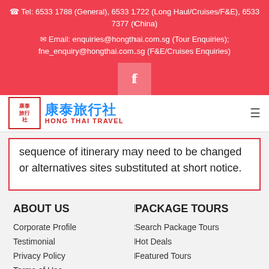☎ Tel: 6533 1788 (General), 6533 1722 (Long Haul/Cruises/F&E), 6533 7377 (China)
✉ Email: enquiries@hongthai.com.sg (Tour Enquiries); fne_enquiry@hongthai.com.sg (F&E/Cruises Enquiries)
[Figure (logo): Hong Thai Travel logo with Chinese characters 康泰旅行社 in blue, red English text HONG THAI TRAVEL, and red bordered square logo mark]
sequence of itinerary may need to be changed or alternatives sites substituted at short notice.
ABOUT US
Corporate Profile
Testimonial
Privacy Policy
Terms of Use
PACKAGE TOURS
Search Package Tours
Hot Deals
Featured Tours